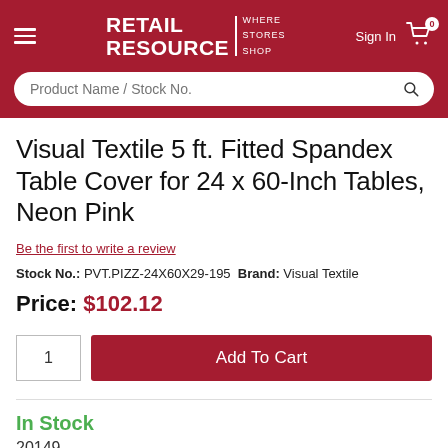[Figure (logo): Retail Resource logo — white text on dark red background with tagline WHERE STORES SHOP]
Visual Textile 5 ft. Fitted Spandex Table Cover for 24 x 60-Inch Tables, Neon Pink
Be the first to write a review
Stock No.: PVT.PIZZ-24X60X29-195 Brand: Visual Textile
Price: $102.12
1  Add To Cart
In Stock
20149